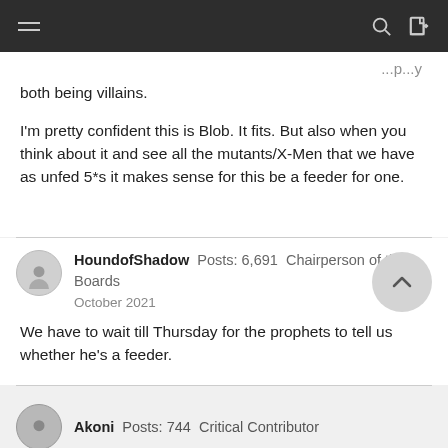[navigation bar with hamburger menu, search icon, login icon]
both being villains.
I'm pretty confident this is Blob. It fits. But also when you think about it and see all the mutants/X-Men that we have as unfed 5*s it makes sense for this be a feeder for one.
HoundofShadow  Posts: 6,691  Chairperson of the Boards
October 2021
We have to wait till Thursday for the prophets to tell us whether he's a feeder.
Akoni  Posts: 744  Critical Contributor